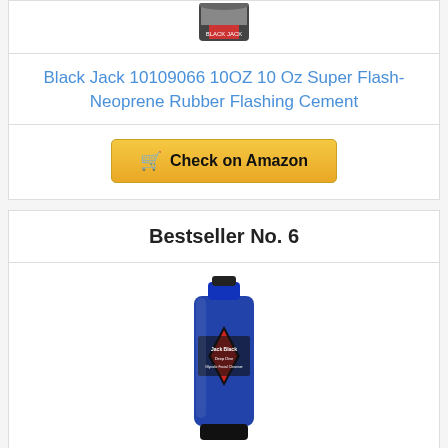[Figure (photo): Partial view of a product can at the top of the page (Black Jack cement)]
Black Jack 10109066 10OZ 10 Oz Super Flash-Neoprene Rubber Flashing Cement
Check on Amazon
Bestseller No. 6
[Figure (photo): Blue tube of Jack Black Deep Dive Glycolic Facial Cleanser product]
Jack Black - Deep Dive Glycolic Facial